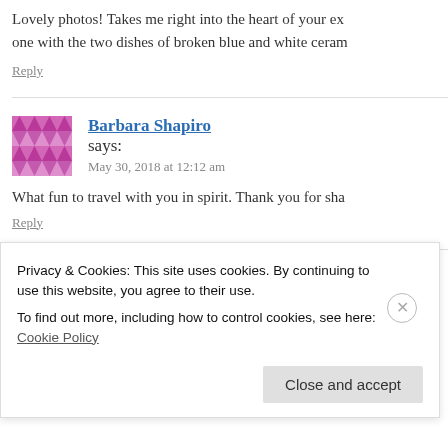Lovely photos! Takes me right into the heart of your ex... one with the two dishes of broken blue and white ceram...
Reply
Barbara Shapiro says: May 30, 2018 at 12:12 am
What fun to travel with you in spirit. Thank you for sha...
Reply
ChrisM says:
Privacy & Cookies: This site uses cookies. By continuing to use this website, you agree to their use.
To find out more, including how to control cookies, see here: Cookie Policy
Close and accept